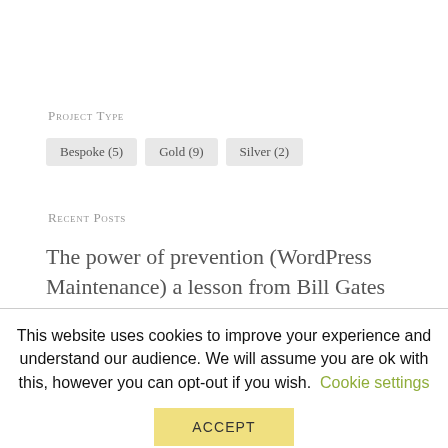Project Type
Bespoke (5)
Gold (9)
Silver (2)
Recent Posts
The power of prevention (WordPress Maintenance) a lesson from Bill Gates
This website uses cookies to improve your experience and understand our audience. We will assume you are ok with this, however you can opt-out if you wish. Cookie settings
ACCEPT